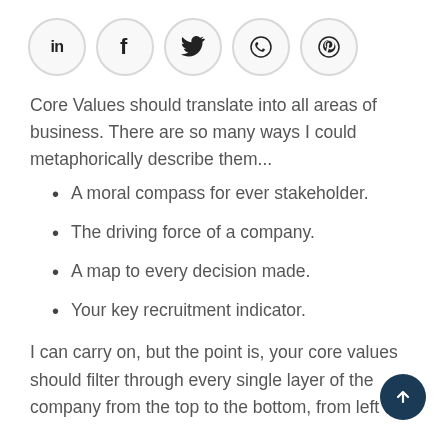[Figure (other): Row of five social media share icons in circular outlined buttons: LinkedIn (in), Facebook (f), Twitter (bird), WhatsApp (phone in circle), Pinterest (P)]
Core Values should translate into all areas of business. There are so many ways I could metaphorically describe them...
A moral compass for ever stakeholder.
The driving force of a company.
A map to every decision made.
Your key recruitment indicator.
I can carry on, but the point is, your core values should filter through every single layer of the company from the top to the bottom, from left to